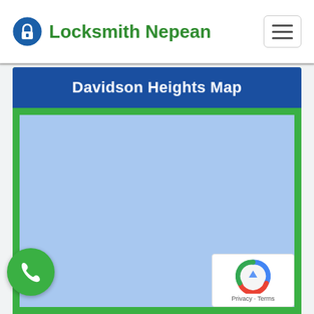Locksmith Nepean
Davidson Heights Map
[Figure (map): A light blue map area representing Davidson Heights, embedded within a green-bordered frame with a dark blue title bar above. A green phone call button appears at lower left and a Google reCAPTCHA badge at lower right.]